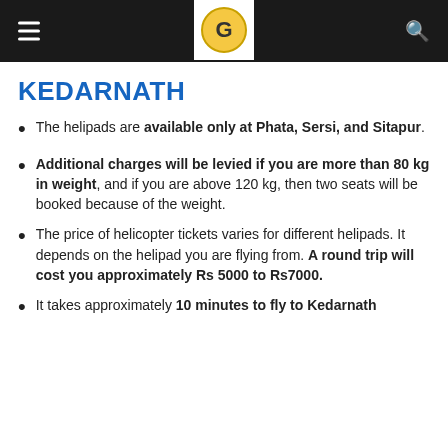KEDARNATH
KEDARNATH
The helipads are available only at Phata, Sersi, and Sitapur.
Additional charges will be levied if you are more than 80 kg in weight, and if you are above 120 kg, then two seats will be booked because of the weight.
The price of helicopter tickets varies for different helipads. It depends on the helipad you are flying from. A round trip will cost you approximately Rs 5000 to Rs7000.
It takes approximately 10 minutes to fly to Kedarnath